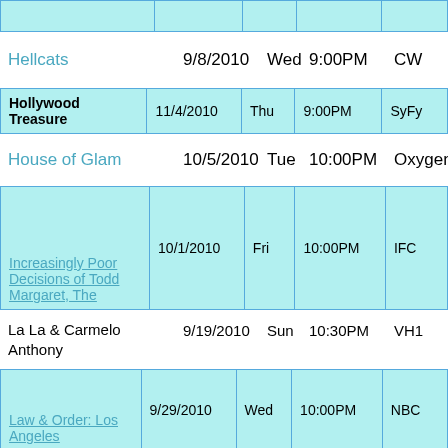| Show | Date | Day | Time | Network |
| --- | --- | --- | --- | --- |
|  |  |  |  |  |
Hellcats   9/8/2010   Wed   9:00PM   CW
| Show | Date | Day | Time | Network |
| --- | --- | --- | --- | --- |
| Hollywood Treasure | 11/4/2010 | Thu | 9:00PM | SyFy |
House of Glam   10/5/2010   Tue   10:00PM   Oxygen
| Show | Date | Day | Time | Network |
| --- | --- | --- | --- | --- |
| Increasingly Poor Decisions of Todd Margaret, The | 10/1/2010 | Fri | 10:00PM | IFC |
La La & Carmelo Anthony   9/19/2010   Sun   10:30PM   VH1
| Show | Date | Day | Time | Network |
| --- | --- | --- | --- | --- |
| Law & Order: Los Angeles | 9/29/2010 | Wed | 10:00PM | NBC |